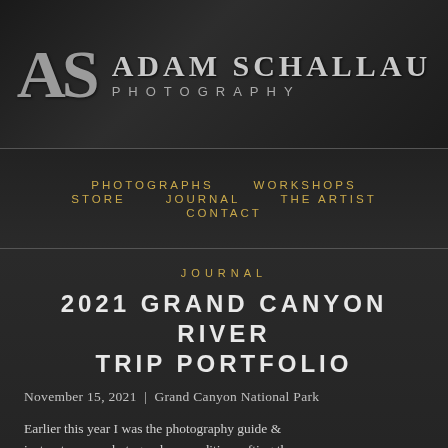[Figure (logo): Adam Schallau Photography logo — stylized AS monogram in silver-gray with 'ADAM SCHALLAU' in large serif letters and 'PHOTOGRAPHY' in spaced sans-serif below, on dark textured background]
PHOTOGRAPHS   WORKSHOPS   STORE   JOURNAL   THE ARTIST   CONTACT
JOURNAL
2021 GRAND CANYON RIVER TRIP PORTFOLIO
November 15, 2021  |  Grand Canyon National Park
Earlier this year I was the photography guide & instructor on a photography expedition rafting the